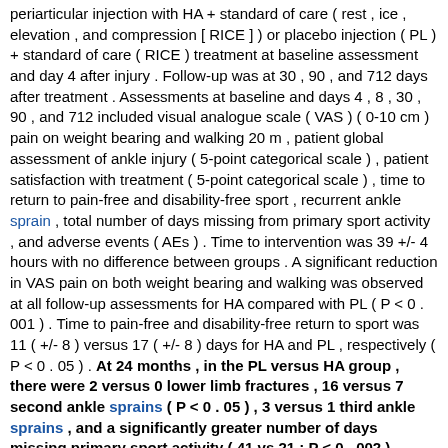periarticular injection with HA + standard of care ( rest , ice , elevation , and compression [ RICE ] ) or placebo injection ( PL ) + standard of care ( RICE ) treatment at baseline assessment and day 4 after injury . Follow-up was at 30 , 90 , and 712 days after treatment . Assessments at baseline and days 4 , 8 , 30 , 90 , and 712 included visual analogue scale ( VAS ) ( 0-10 cm ) pain on weight bearing and walking 20 m , patient global assessment of ankle injury ( 5-point categorical scale ) , patient satisfaction with treatment ( 5-point categorical scale ) , time to return to pain-free and disability-free sport , recurrent ankle sprain , total number of days missing from primary sport activity , and adverse events ( AEs ) . Time to intervention was 39 +/- 4 hours with no difference between groups . A significant reduction in VAS pain on both weight bearing and walking was observed at all follow-up assessments for HA compared with PL ( P < 0 . 001 ) . Time to pain-free and disability-free return to sport was 11 ( +/- 8 ) versus 17 ( +/- 8 ) days for HA and PL , respectively ( P < 0 . 05 ) . At 24 months , in the PL versus HA group , there were 2 versus 0 lower limb fractures , 16 versus 7 second ankle sprains ( P < 0 . 05 ) , 3 versus 1 third ankle sprains , and a significantly greater number of days missing primary sport activity ( 41 vs 21 ; P < 0 . 002 ) . Significantly greater patient satisfaction was also observed for HA versus PL at all follow-up assessments . No serious AEs were recorded throughout follow-up . Periarticular HA treatment for acute ankle sprain was highly satisfactory in the short and long term versus PL . This was associated with reduced pain , more rapid return to sport , fewer recurrent ankle sprains , fewer missed days from sport , and with few associated AEs to 24 months . [ Sen. 1, subscore: 1.00 ]: The objectives of this study were to determine the long-term efficacy and safety of periarticular hyaluronic acid ( HA ) injections in acute lateral ankle sprain . A randomized , controlled , prospective trial in a primary sports medicine